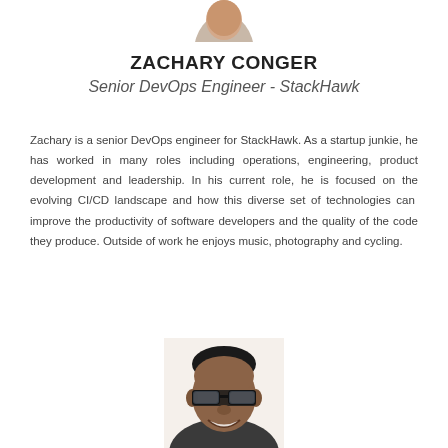[Figure (photo): Partial headshot photo cropped at top of page (top portion of a person's head)]
ZACHARY CONGER
Senior DevOps Engineer - StackHawk
Zachary is a senior DevOps engineer for StackHawk. As a startup junkie, he has worked in many roles including operations, engineering, product development and leadership. In his current role, he is focused on the evolving CI/CD landscape and how this diverse set of technologies can improve the productivity of software developers and the quality of the code they produce. Outside of work he enjoys music, photography and cycling.
[Figure (photo): Headshot photo of a man wearing glasses, smiling, partially cropped at the bottom of the page]